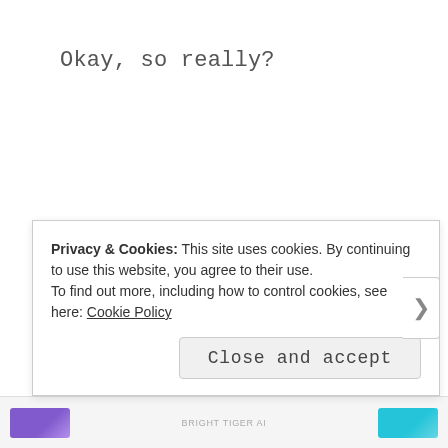Okay, so really?
Come on give them some credit! Maybe they're researching the artist?
Pictures courtesy of dreamstime.com, the web and personal.
Privacy & Cookies: This site uses cookies. By continuing to use this website, you agree to their use.
To find out more, including how to control cookies, see here: Cookie Policy
Close and accept